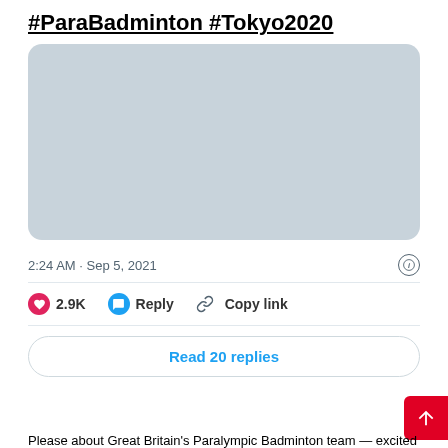#ParaBadminton #Tokyo2020
[Figure (photo): Media placeholder image with light blue-grey background, rounded corners, representing an embedded media attachment in a tweet]
2:24 AM · Sep 5, 2021
2.9K  Reply  Copy link
Read 20 replies
Please about Great Britain's Paralympic Badminton team — excited